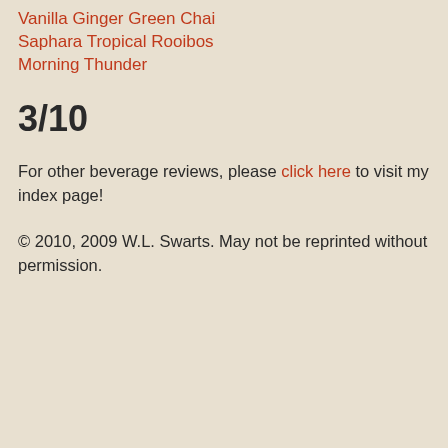Vanilla Ginger Green Chai
Saphara Tropical Rooibos
Morning Thunder
3/10
For other beverage reviews, please click here to visit my index page!
© 2010, 2009 W.L. Swarts. May not be reprinted without permission.